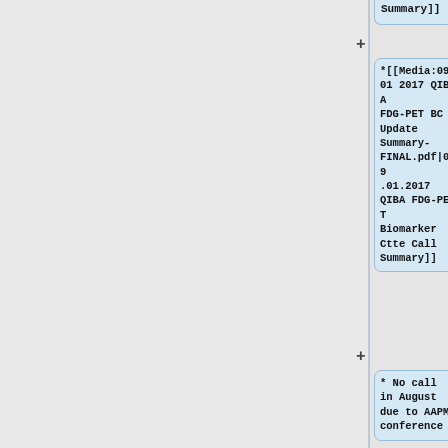Summary]]
*[[Media:0901 2017 QIBA FDG-PET BC Update Summary-FINAL.pdf|09.01.2017 QIBA FDG-PET Biomarker Ctte Call Summary]]
* No call in August due to AAPM conference
*[[Monthly FDG-PET Call
*[[Monthly FDG-PET Call